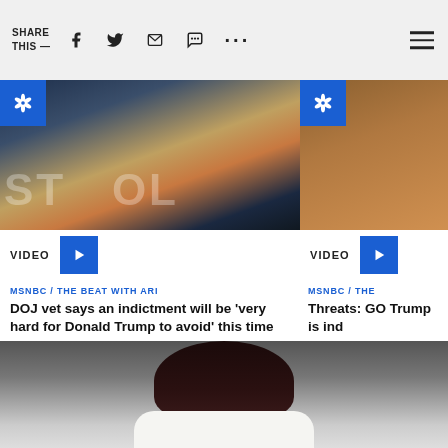SHARE THIS —
[Figure (photo): Donald Trump speaking at a microphone against a dark background with large white letters. NBC peacock logo badge in top-left corner. VIDEO label and blue play button at bottom.]
MSNBC / THE BEAT WITH ARI
DOJ vet says an indictment will be 'very hard for Donald Trump to avoid' this time
[Figure (photo): Partial image showing a wooden door/panel background with NBC peacock logo badge. VIDEO label and blue play button at bottom. Partially cut off on right edge.]
MSNBC / THE
Threats: GO Trump is ind
[Figure (photo): Partial image of a woman with dark hair wearing a light/white top, cropped at bottom of page.]